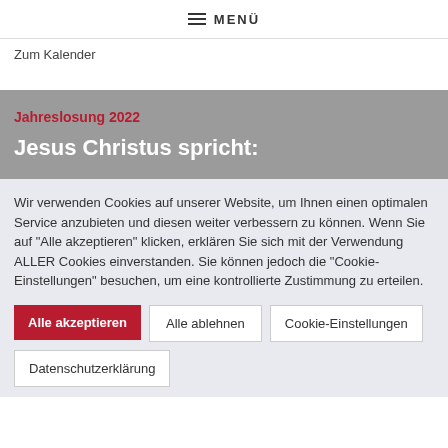MENÜ
Zum Kalender
Jahreslosung 2022
Jesus Christus spricht:
Wir verwenden Cookies auf unserer Website, um Ihnen einen optimalen Service anzubieten und diesen weiter verbessern zu können. Wenn Sie auf "Alle akzeptieren" klicken, erklären Sie sich mit der Verwendung ALLER Cookies einverstanden. Sie können jedoch die "Cookie-Einstellungen" besuchen, um eine kontrollierte Zustimmung zu erteilen.
Alle akzeptieren
Alle ablehnen
Cookie-Einstellungen
Datenschutzerklärung